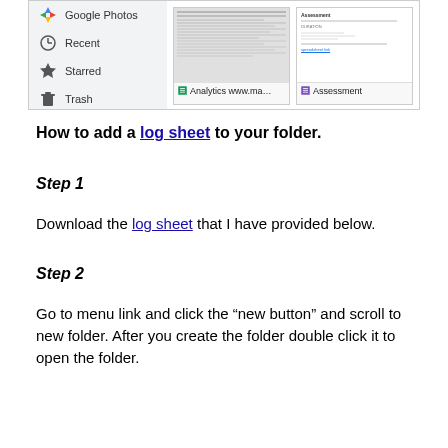[Figure (screenshot): Google Drive interface screenshot showing sidebar with Google Photos, Recent, Starred, Trash items, and two file thumbnails labeled 'Analytics www.ma...' and 'Assessment' with Google Sheets icons]
How to add a log sheet to your folder.
Step 1
Download the log sheet that I have provided below.
Step 2
Go to menu link and click the “new button” and scroll to new folder. After you create the folder double click it to open the folder.